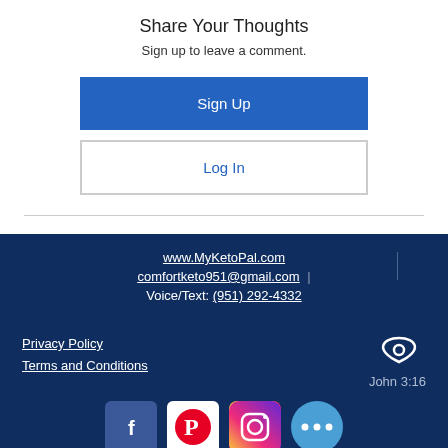Share Your Thoughts
Sign up to leave a comment.
Sign Up
Log In
www.MyKetoPal.com
comfortketo951@gmail.com
Voice/Text: (951) 292-4332
Privacy Policy
Terms and Conditions
John 3:16
[Figure (logo): Facebook, Pinterest, Instagram social media icons and a more options button]
© Comfort Keto™